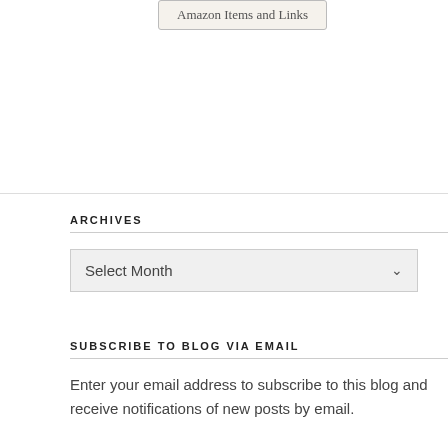Amazon Items and Links
ARCHIVES
Select Month
SUBSCRIBE TO BLOG VIA EMAIL
Enter your email address to subscribe to this blog and receive notifications of new posts by email.